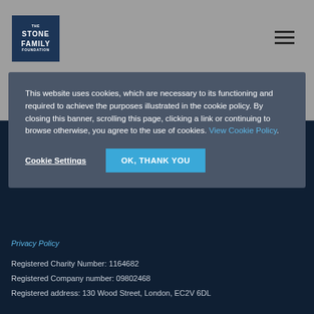[Figure (logo): The Stone Family Foundation logo - dark blue square with white bold text]
This website uses cookies, which are necessary to its functioning and required to achieve the purposes illustrated in the cookie policy. By closing this banner, scrolling this page, clicking a link or continuing to browse otherwise, you agree to the use of cookies. View Cookie Policy.
Cookie Settings
OK, THANK YOU
Privacy Policy
Registered Charity Number: 1164682
Registered Company number: 09802468
Registered address: 130 Wood Street, London, EC2V 6DL